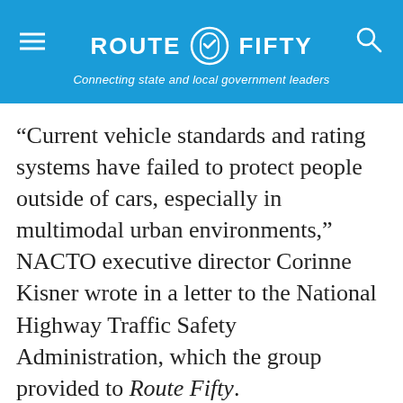ROUTE FIFTY — Connecting state and local government leaders
“Current vehicle standards and rating systems have failed to protect people outside of cars, especially in multimodal urban environments,” NACTO executive director Corinne Kisner wrote in a letter to the National Highway Traffic Safety Administration, which the group provided to Route Fifty.
“The new rating system incorporates several long-overdue technological changes but misses opportunities to address the outsized roles that vehicle speed, size, weight and visibility from the